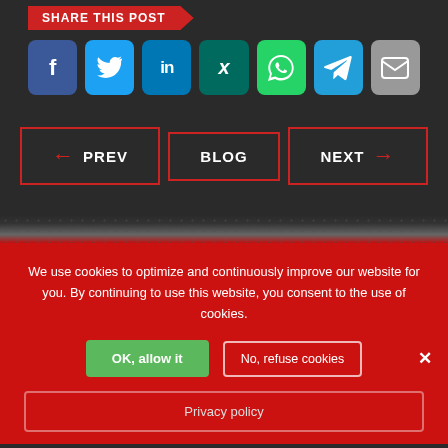SHARE THIS POST
[Figure (screenshot): Row of social media share icon buttons: Facebook (blue), Twitter (light blue), LinkedIn (blue), Xing (teal), WhatsApp (green), Telegram (blue), Email (gray)]
[Figure (infographic): Navigation buttons: PREV (with left red arrow), BLOG (centered), NEXT (with right red arrow), each outlined in red on dark background]
We use cookies to optimize and continuously improve our website for you. By continuing to use this website, you consent to the use of cookies.
OK, allow it
No, refuse cookies
Privacy policy